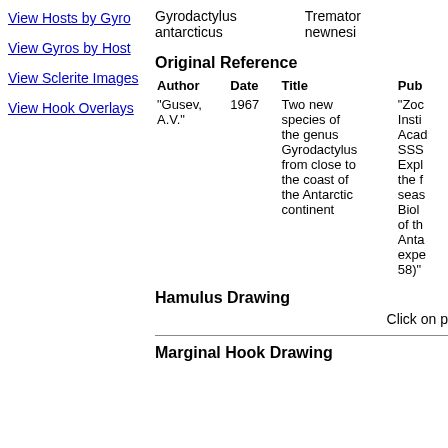View Hosts by Gyro
View Gyros by Host
View Sclerite Images
View Hook Overlays
Gyrodactylus antarcticus    Tremator newnesi
Original Reference
| Author | Date | Title | Pub |
| --- | --- | --- | --- |
| "Gusev, A.V." | 1967 | Two new species of the genus Gyrodactylus from close to the coast of the Antarctic continent | "Zoological Institute Academia SSS Exploration the first season Biol of the Antarctic expedition 58)" |
Hamulus Drawing
Click on p
Marginal Hook Drawing